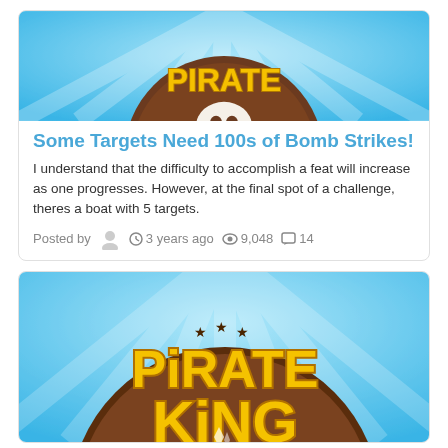[Figure (screenshot): Pirate game app icon cropped at top — blue sky background with brown circular coin and skull icon]
Some Targets Need 100s of Bomb Strikes!
I understand that the difficulty to accomplish a feat will increase as one progresses. However, at the final spot of a challenge, theres a boat with 5 targets.
Posted by  3 years ago  9,048  14
[Figure (screenshot): Pirate King game logo — blue sky background, brown coin with stars, yellow 3D PIRATE KING text]